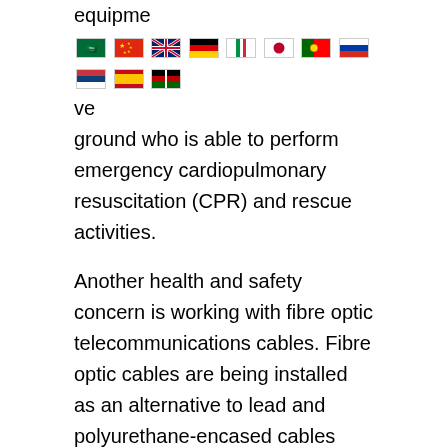equipment [flags] ve ground who is able to perform emergency cardiopulmonary resuscitation (CPR) and rescue activities.
Another health and safety concern is working with fibre optic telecommunications cables. Fibre optic cables are being installed as an alternative to lead and polyurethane-encased cables because they carry many more communications transmission and they are much smaller in size. Health and safety concerns involve potential burns to the eyes or skin from exposure to the laser beam when cables become disconnected or broken. When this occurs, protective engineering controls and equipment should be provided.
Also, cable installation and maintenance work performed in buildings involves potential exposure to asbestos products. Exposure occurs as a result of the deterioration or break-up of asbestos products like pipes, patching and taping compounds, floor and ceiling tiles and reinforcing fillers in paints and sealants. During the late 1970s, asbestos products were